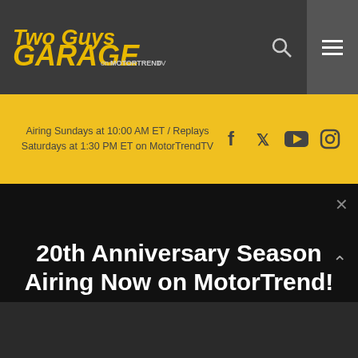[Figure (logo): Two Guys Garage on MotorTrend TV logo in yellow/gold text on dark grey header bar]
Airing Sundays at 10:00 AM ET / Replays Saturdays at 1:30 PM ET on MotorTrendTV
[Figure (infographic): Social media icons: Facebook, Twitter, YouTube, Instagram on yellow bar]
20th Anniversary Season Airing Now on MotorTrend!
STREAM PODCAST NOW!